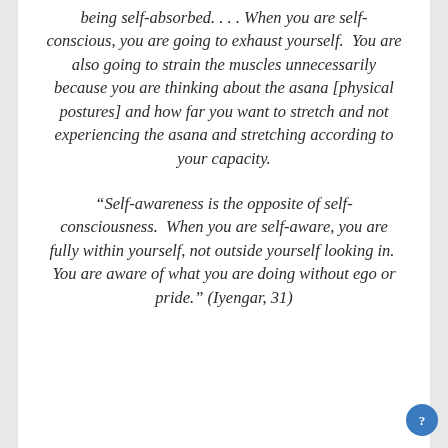being self-absorbed. . . . When you are self-conscious, you are going to exhaust yourself. You are also going to strain the muscles unnecessarily because you are thinking about the asana [physical postures] and how far you want to stretch and not experiencing the asana and stretching according to your capacity.
“Self-awareness is the opposite of self-consciousness. When you are self-aware, you are fully within yourself, not outside yourself looking in. You are aware of what you are doing without ego or pride.” (Iyengar, 31)